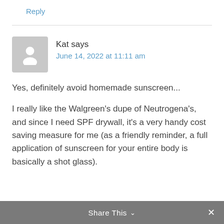Reply
Kat says
June 14, 2022 at 11:11 am
Yes, definitely avoid homemade sunscreen...
I really like the Walgreen’s dupe of Neutrogena’s, and since I need SPF drywall, it’s a very handy cost saving measure for me (as a friendly reminder, a full application of sunscreen for your entire body is basically a shot glass).
Share This